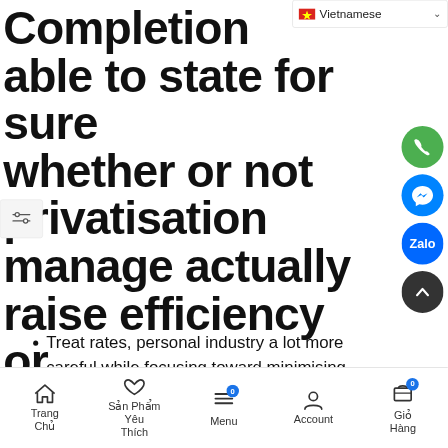[Figure (screenshot): Language selector dropdown showing Vietnamese flag and text with chevron]
Completion able to state for sure whether or not privatisation manage actually raise efficiency or otherwise not
[Figure (other): Phone call FAB button (green circle with phone icon)]
[Figure (other): Messenger FAB button (blue circle with messenger icon)]
[Figure (other): Zalo FAB button (blue circle with Zalo logo)]
[Figure (other): Scroll-to-top FAB button (dark circle with up chevron)]
Treat rates, personal industry a lot more careful while focusing toward minimising prices, because main objective is always to
Trang Chủ  Sản Phẩm Yêu Thích  Menu  Account  Giỏ Hàng